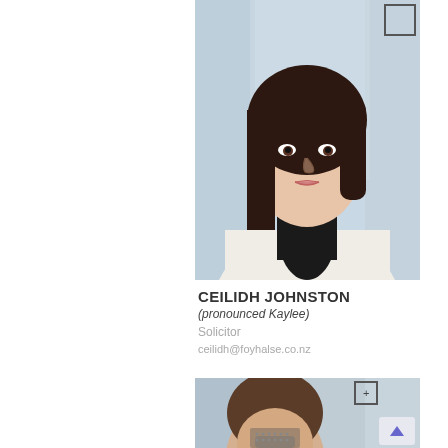[Figure (photo): Professional headshot of Ceilidh Johnston, a young woman with long brown hair wearing a black turtleneck and cream/white jacket, photographed against a light blurred office background.]
CEILIDH JOHNSTON
(pronounced Kaylee)
Solicitor
ceilidh@foyhalse.co.nz
[Figure (photo): Partial professional headshot of a second person, partially visible at bottom of page, with UI overlay elements including a corner bracket icon and arrow button.]